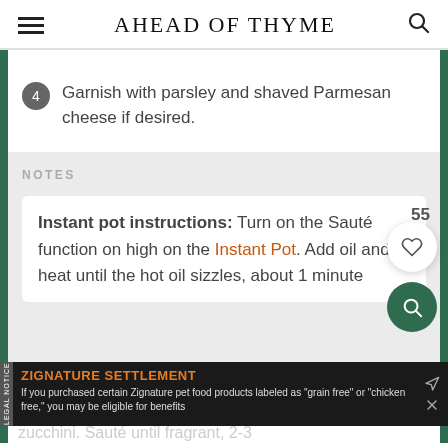AHEAD OF THYME
4 Garnish with parsley and shaved Parmesan cheese if desired.
NOTES
Instant pot instructions: Turn on the Sauté function on high on the Instant Pot. Add oil and heat until the hot oil sizzles, about 1 minute
zucchini. Sauté until fragrant, 2-3